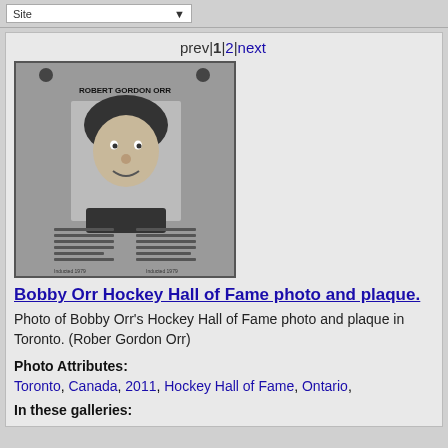prev|1|2|next
[Figure (photo): Black and white plaque photo of Robert Gordon Orr from the Hockey Hall of Fame, showing his portrait and engraved text on the plaque]
Bobby Orr Hockey Hall of Fame photo and plaque.
Photo of Bobby Orr's Hockey Hall of Fame photo and plaque in Toronto. (Rober Gordon Orr)
Photo Attributes:
Toronto, Canada, 2011, Hockey Hall of Fame, Ontario,
In these galleries: